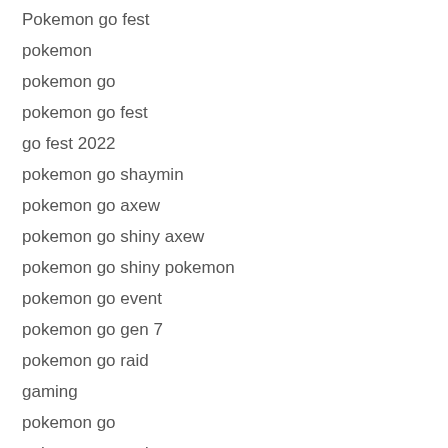Pokemon go fest
pokemon
pokemon go
pokemon go fest
go fest 2022
pokemon go shaymin
pokemon go axew
pokemon go shiny axew
pokemon go shiny pokemon
pokemon go event
pokemon go gen 7
pokemon go raid
gaming
pokemon go
pokemon go update
pokémon go
go fest 2022
pokemon go shiny